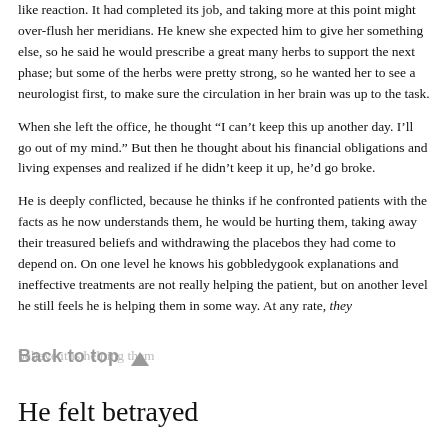like reaction. It had completed its job, and taking more at this point might over-flush her meridians. He knew she expected him to give her something else, so he said he would prescribe a great many herbs to support the next phase; but some of the herbs were pretty strong, so he wanted her to see a neurologist first, to make sure the circulation in her brain was up to the task.
When she left the office, he thought “I can’t keep this up another day. I’ll go out of my mind.” But then he thought about his financial obligations and living expenses and realized if he didn’t keep it up, he’d go broke.
He is deeply conflicted, because he thinks if he confronted patients with the facts as he now understands them, he would be hurting them, taking away their treasured beliefs and withdrawing the placebos they had come to depend on. On one level he knows his gobbledygook explanations and ineffective treatments are not really helping the patient, but on another level he still feels he is helping them in some way. At any rate, they
believe it is helping them
Back to top ▲
He felt betrayed